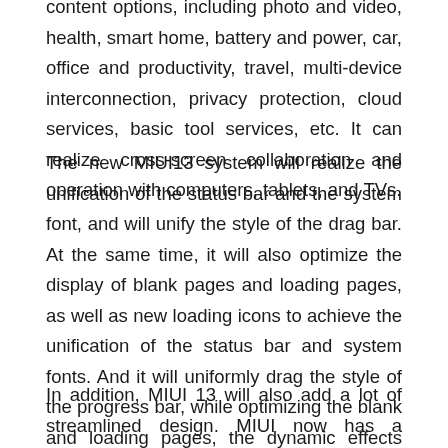content options, including photo and video, health, smart home, battery and power, car, office and productivity, travel, multi-device interconnection, privacy protection, cloud services, basic tool services, etc. It can realize cross-screen collaboration and operation with computers, tablets, and TVs.
The new MIUI13 system will realize the unification of the status bar and the system font, and will unify the style of the drag bar. At the same time, it will also optimize the display of blank pages and loading pages, as well as new loading icons to achieve the unification of the status bar and system fonts. And it will uniformly drag the style of the progress bar, while optimizing the blank and loading pages, the dynamic effects and display effects are more smooth and vivid than MIUI 12, after all, each upgrade will definitely have a better experience than the previous generation.
In addition, MIUI 13 will also add a lot of streamlined design. MIUI now has a bloated problem. So MIUI 13 will also provide functional plug-ins, only retaining the default streamlined functions, users can